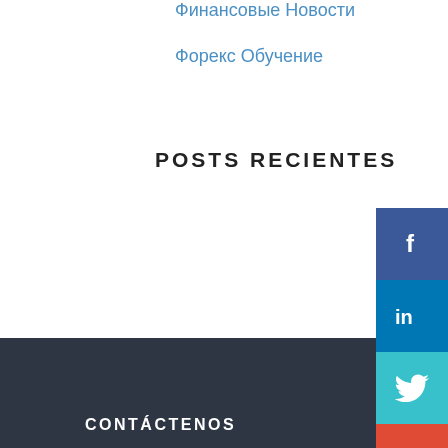Финансовые Новости
Форекс Обучение
POSTS RECIENTES
IGNIWEB
What to Look For in Data Room Software
CONTÁCTENOS